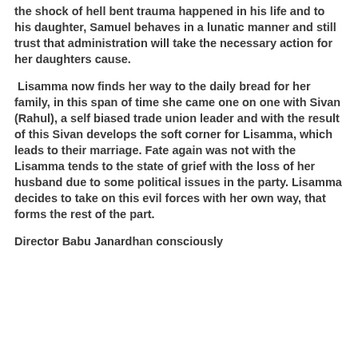the shock of hell bent trauma happened in his life and to his daughter, Samuel behaves in a lunatic manner and still trust that administration will take the necessary action for her daughters cause.
Lisamma now finds her way to the daily bread for her family, in this span of time she came one on one with Sivan (Rahul), a self biased trade union leader and with the result of this Sivan develops the soft corner for Lisamma, which leads to their marriage. Fate again was not with the Lisamma tends to the state of grief with the loss of her husband due to some political issues in the party. Lisamma decides to take on this evil forces with her own way, that forms the rest of the part.
Director Babu Janardhan consciously